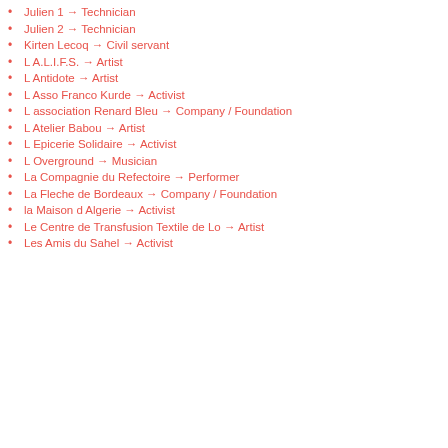Julien 1 → Technician
Julien 2 → Technician
Kirten Lecoq → Civil servant
L A.L.I.F.S. → Artist
L Antidote → Artist
L Asso Franco Kurde → Activist
L association Renard Bleu → Company / Foundation
L Atelier Babou → Artist
L Epicerie Solidaire → Activist
L Overground → Musician
La Compagnie du Refectoire → Performer
La Fleche de Bordeaux → Company / Foundation
la Maison d Algerie → Activist
Le Centre de Transfusion Textile de Lo → Artist
Les Amis du Sahel → Activist